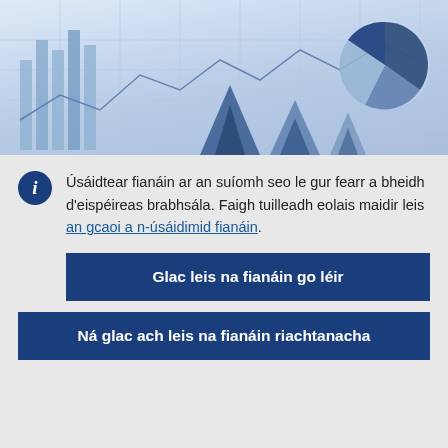[Figure (photo): Decorative banner image showing financial charts and graphs including bar charts, line charts, and a pie chart in blue and white tones]
Úsáidtear fianáin ar an suíomh seo le gur fearr a bheidh d'eispéireas brabhsála. Faigh tuilleadh eolais maidir leis an gcaoi a n-úsáidimid fianáin.
Glac leis na fianáin go léir
Ná glac ach leis na fianáin riachtanacha